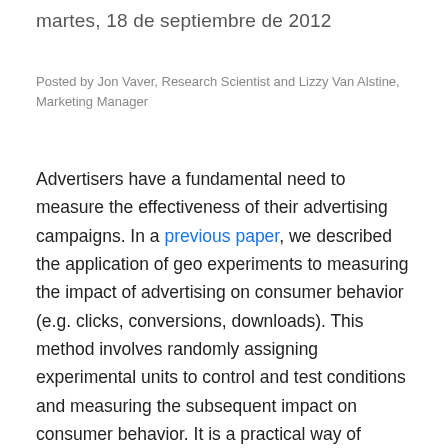martes, 18 de septiembre de 2012
Posted by Jon Vaver, Research Scientist and Lizzy Van Alstine, Marketing Manager
Advertisers have a fundamental need to measure the effectiveness of their advertising campaigns. In a previous paper, we described the application of geo experiments to measuring the impact of advertising on consumer behavior (e.g. clicks, conversions, downloads). This method involves randomly assigning experimental units to control and test conditions and measuring the subsequent impact on consumer behavior. It is a practical way of incorporating the gold standard of randomized experiments into the analysis of marketing effectiveness. However, advertising